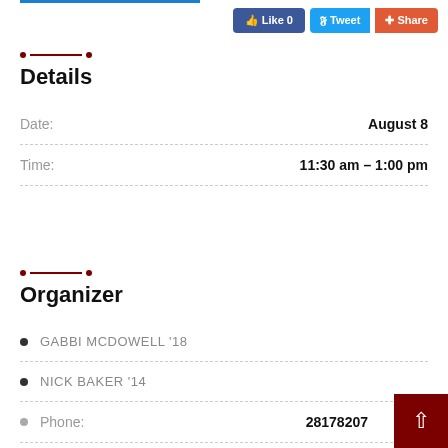[Figure (screenshot): Social media buttons: Facebook Like (0), Twitter Tweet, Google+ Share]
Details
| Date: | August 8 |
| Time: | 11:30 am – 1:00 pm |
Organizer
GABBI MCDOWELL '18
NICK BAKER '14
Phone: 28178207…